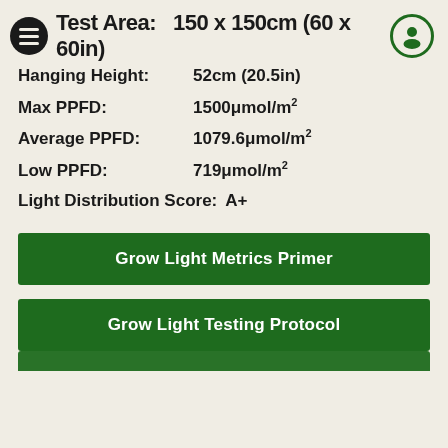Test Area: 150 x 150cm (60 x 60in)
Hanging Height: 52cm (20.5in)
Max PPFD: 1500μmol/m²
Average PPFD: 1079.6μmol/m²
Low PPFD: 719μmol/m²
Light Distribution Score: A+
Grow Light Metrics Primer
Grow Light Testing Protocol